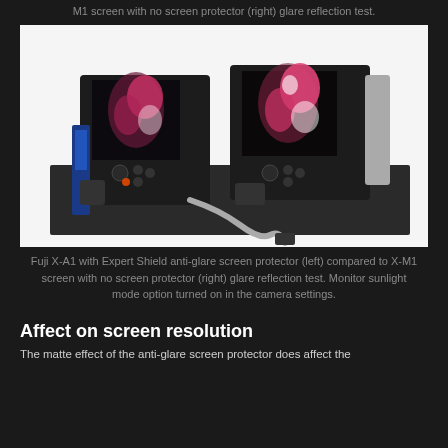M1 screen with no screen protector (right) glare reflection test.
[Figure (photo): Two cameras side by side: Fuji X-A1 with Expert Shield anti-glare screen protector on the left and X-M1 with no screen protector on the right, both showing glare reflection test with monitor sunlight mode on.]
Fuji X-A1 with Expert Shield anti-glare screen protector (left) compared to X-M1 screen with no screen protector (right) glare reflection test. Monitor sunlight mode option turned on in the camera settings.
Affect on screen resolution
The matte effect of the anti-glare screen protector does affect the